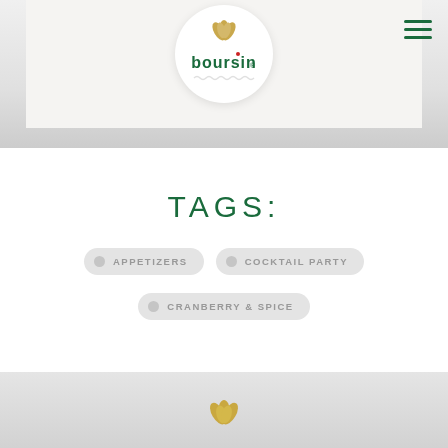[Figure (logo): Boursin brand logo in green with decorative wheat/leaf motif, displayed in a white circular badge at the top center of the page]
TAGS:
APPETIZERS
COCKTAIL PARTY
CRANBERRY & SPICE
[Figure (logo): Boursin gold decorative wheat/leaf motif logo at the bottom of the page, partially visible]